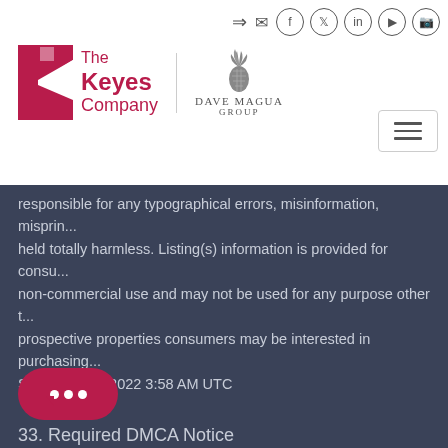[Figure (logo): The Keyes Company logo with red K icon and text, plus Dave Magua Group pineapple logo]
responsible for any typographical errors, misinformation, misprin... held totally harmless. Listing(s) information is provided for consu... non-commercial use and may not be used for any purpose other t... prospective properties consumers may be interested in purchasing... September 2, 2022 3:58 AM UTC
33. Required DMCA Notice
DMCA Disclaimer
The Digital Millennium Copyright Act of 1998, 17 U.S.C. §512, the D... recourse for copyright owners who believe that material appearin... ir rights under U.S. copyright law. If you believe in go... material made available in connection with our websit...